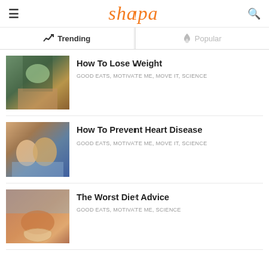shapa
Trending | Popular
How To Lose Weight
GOOD EATS, MOTIVATE ME, MOVE IT, SCIENCE
How To Prevent Heart Disease
GOOD EATS, MOTIVATE ME, MOVE IT, SCIENCE
The Worst Diet Advice
GOOD EATS, MOTIVATE ME, SCIENCE